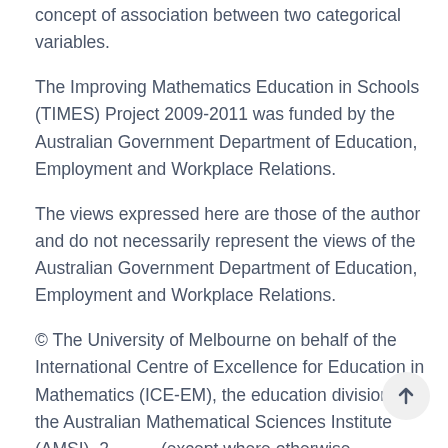concept of association between two categorical variables.
The Improving Mathematics Education in Schools (TIMES) Project 2009-2011 was funded by the Australian Government Department of Education, Employment and Workplace Relations.
The views expressed here are those of the author and do not necessarily represent the views of the Australian Government Department of Education, Employment and Workplace Relations.
© The University of Melbourne on behalf of the International Centre of Excellence for Education in Mathematics (ICE-EM), the education division of the Australian Mathematical Sciences Institute (AMSI), 2 (except where otherwise indicated). This work is licensed